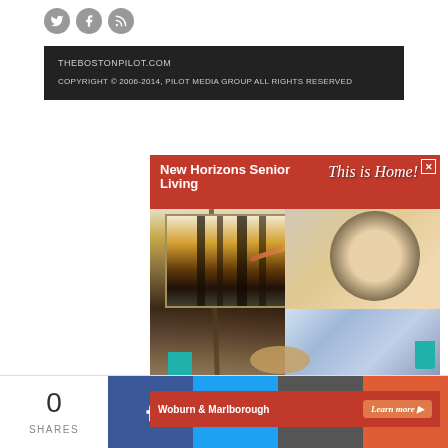[Figure (other): Three social media icons (Twitter, Facebook, RSS) as gray circles]
THEBOSTONPILOT.COM
COPYRIGHT © 2006-2014, PILOT MEDIA GROUP ALL RIGHTS RESERVED
[Figure (photo): Advertisement for New Horizons Senior Living showing an elderly woman painting at an easel. Red header bar with text 'New Horizons Senior Living' and 'This is Home!' tagline. Bottom bar shows 'Woburn & Marlborough' with 'Learn more' button.]
0
SHARES